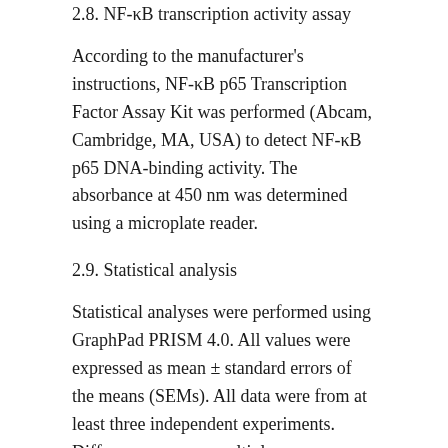2.8. NF-κB transcription activity assay
According to the manufacturer's instructions, NF-κB p65 Transcription Factor Assay Kit was performed (Abcam, Cambridge, MA, USA) to detect NF-κB p65 DNA-binding activity. The absorbance at 450 nm was determined using a microplate reader.
2.9. Statistical analysis
Statistical analyses were performed using GraphPad PRISM 4.0. All values were expressed as mean ± standard errors of the means (SEMs). All data were from at least three independent experiments. Differences among multiple groups were determined by one-way ana- lysis of variance (ANOVA) followed by Tukey's post-hoc test. Values were considered significantly different at P < 0.05.